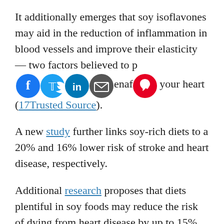It additionally emerges that soy isoflavones may aid in the reduction of inflammation in blood vessels and improve their elasticity — two factors believed to prevent damage of your heart (17Trusted Source).
A new study further links soy-rich diets to a 20% and 16% lower risk of stroke and heart disease, respectively.
Additional research proposes that diets plentiful in soy foods may reduce the risk of dying from heart disease by up to 15%.
Can lower blood pressure – Soybeans and foods produced from them are generally rich in